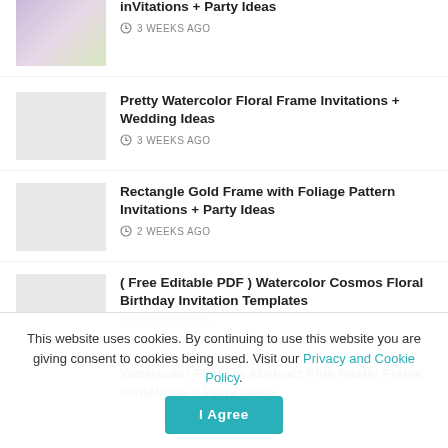Invitations + Party Ideas · 3 WEEKS AGO
Pretty Watercolor Floral Frame Invitations + Wedding Ideas · 3 WEEKS AGO
Rectangle Gold Frame with Foliage Pattern Invitations + Party Ideas · 2 WEEKS AGO
( Free Editable PDF ) Watercolor Cosmos Floral Birthday Invitation Templates · 2 WEEKS AGO
Watercolor Flowers Abstract Pink Pastel Frame Invitations + Party Ideas
This website uses cookies. By continuing to use this website you are giving consent to cookies being used. Visit our Privacy and Cookie Policy.